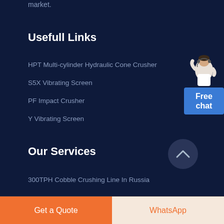market.
Usefull Links
HPT Multi-cylinder Hydraulic Cone Crusher
S5X Vibrating Screen
PF Impact Crusher
Y Vibrating Screen
[Figure (illustration): Customer service representative figure with Free chat button]
Our Services
300TPH Cobble Crushing Line In Russia
Get a Quote
WhatsApp